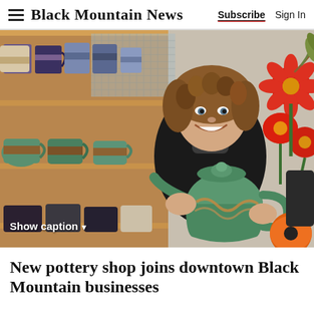Black Mountain News  Subscribe  Sign In
[Figure (photo): Woman smiling and holding a green ceramic teapot inside a pottery shop, with wooden shelves full of colorful mugs and ceramic pieces behind her. Red flowers visible on the right side. Text overlay reads 'Show caption▼'.]
New pottery shop joins downtown Black Mountain businesses